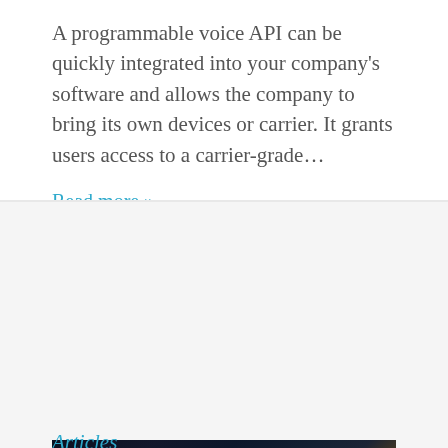A programmable voice API can be quickly integrated into your company's software and allows the company to bring its own devices or carrier. It grants users access to a carrier-grade...
Read more »
[Figure (photo): Three people (two seated, one standing behind) working at night in front of glowing computer monitors with a bright light source and cyan/blue digital display effects.]
Articles